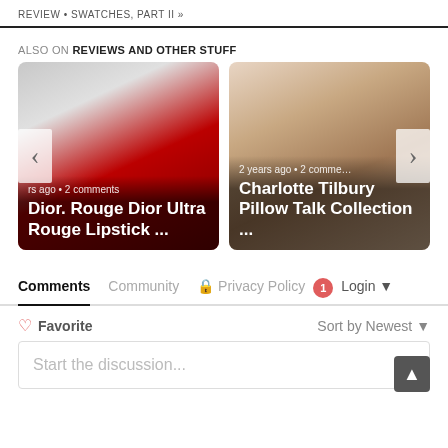REVIEW • SWATCHES, PART II »
ALSO ON REVIEWS AND OTHER STUFF
[Figure (screenshot): Carousel showing two article cards: 'Dior. Rouge Dior Ultra Rouge Lipstick ...' (2 years ago • 2 comments) and 'Charlotte Tilbury Pillow Talk Collection ...' (2 years ago • 2 comments), with left and right navigation arrows.]
Comments  Community  Privacy Policy  1  Login
Favorite  Sort by Newest
Start the discussion...